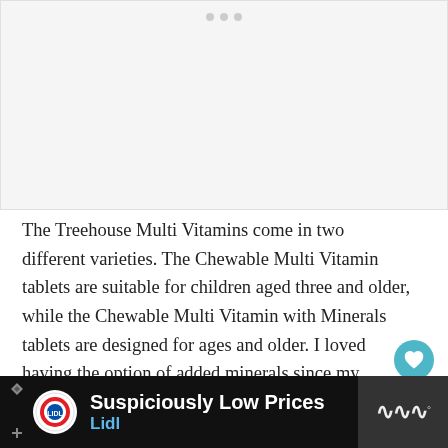[Figure (other): Advertisement placeholder with gray background and three dots at top]
The Treehouse Multi Vitamins come in two different varieties. The Chewable Multi Vitamin tablets are suitable for children aged three and older, while the Chewable Multi Vitamin with Minerals tablets are designed for ages and older. I loved having the option of added minerals since my youngest does or most types of meat and I worry about him getting e any also d amin C.
[Figure (screenshot): WHAT'S NEXT panel with circular image and text 'Teach Kids About the...']
[Figure (screenshot): Bottom advertisement banner: Lidl 'Suspiciously Low Prices' ad with diamond icon, on black background]